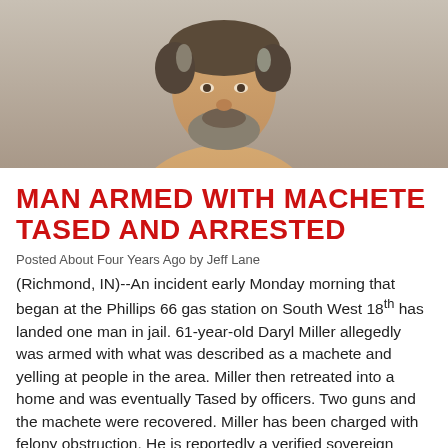[Figure (photo): Mugshot of a middle-aged shirtless man with curly gray-brown hair and a beard, photographed against a light gray background.]
MAN ARMED WITH MACHETE TASED AND ARRESTED
Posted About Four Years Ago by Jeff Lane
(Richmond, IN)--An incident early Monday morning that began at the Phillips 66 gas station on South West 18th has landed one man in jail.  61-year-old Daryl Miller allegedly was armed with what was described as a machete and yelling at people in the area.  Miller then retreated into a home and was eventually Tased by officers.  Two guns and the machete were recovered.  Miller has been charged with felony obstruction.  He is reportedly a verified sovereign citizen.